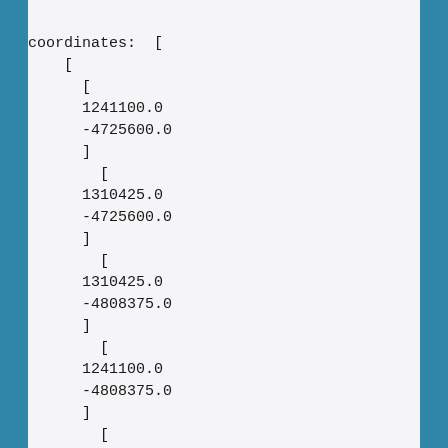coordinates:  [
    [
      [
      1241100.0
      -4725600.0
      ]
        [
      1310425.0
      -4725600.0
      ]
        [
      1310425.0
      -4808375.0
      ]
        [
      1241100.0
      -4808375.0
      ]
        [